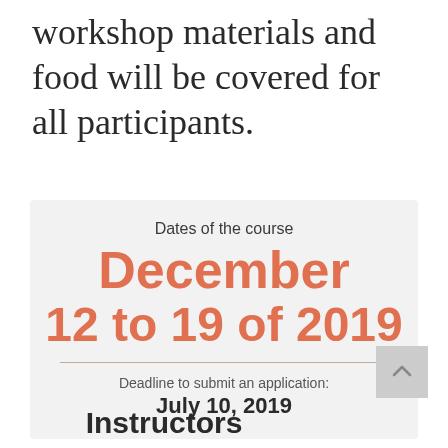workshop materials and food will be covered for all participants.
Dates of the course
December
12 to 19 of 2019
Deadline to submit an application:
July 10, 2019
Instructors